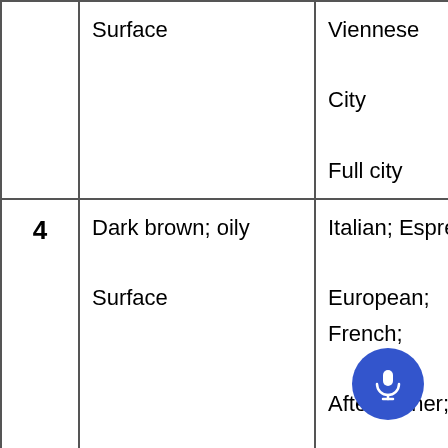|  | Description | Roast Type | Flavor |
| --- | --- | --- | --- |
|  | Surface | Viennese

City

Full city | Acidy sna… |
| 4 | Dark brown; oily

Surface | Italian; Espresso;

European;
French;

After-dinner;

Continental; Dark | A definite…

Acidy tone… |
| 5 | Very dark brown, almost

Black; very shiny, oily surface | Dark French

French

Italian; Heavy | Burned or…

The bitters… |